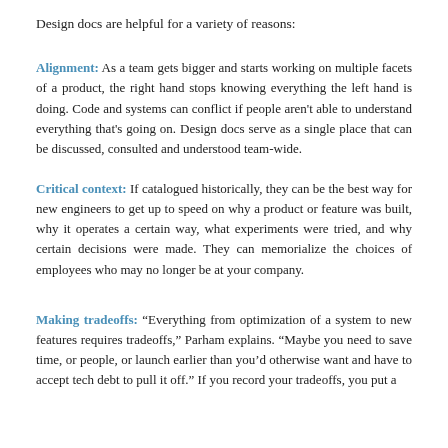Design docs are helpful for a variety of reasons:
Alignment: As a team gets bigger and starts working on multiple facets of a product, the right hand stops knowing everything the left hand is doing. Code and systems can conflict if people aren't able to understand everything that's going on. Design docs serve as a single place that can be discussed, consulted and understood team-wide.
Critical context: If catalogued historically, they can be the best way for new engineers to get up to speed on why a product or feature was built, why it operates a certain way, what experiments were tried, and why certain decisions were made. They can memorialize the choices of employees who may no longer be at your company.
Making tradeoffs: “Everything from optimization of a system to new features requires tradeoffs,” Parham explains. “Maybe you need to save time, or people, or launch earlier than you’d otherwise want and have to accept tech debt to pull it off.” If you record your tradeoffs, you put a